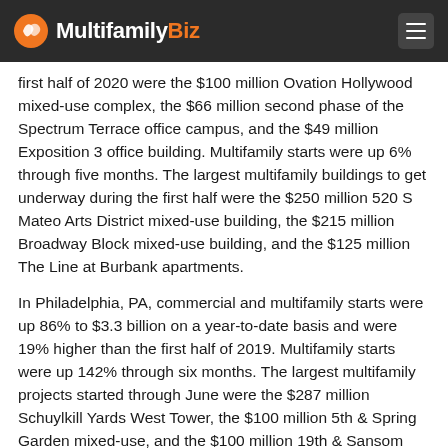MultifamilyBiz
first half of 2020 were the $100 million Ovation Hollywood mixed-use complex, the $66 million second phase of the Spectrum Terrace office campus, and the $49 million Exposition 3 office building. Multifamily starts were up 6% through five months. The largest multifamily buildings to get underway during the first half were the $250 million 520 S Mateo Arts District mixed-use building, the $215 million Broadway Block mixed-use building, and the $125 million The Line at Burbank apartments.
In Philadelphia, PA, commercial and multifamily starts were up 86% to $3.3 billion on a year-to-date basis and were 19% higher than the first half of 2019. Multifamily starts were up 142% through six months. The largest multifamily projects started through June were the $287 million Schuylkill Yards West Tower, the $100 million 5th & Spring Garden mixed-use, and the $100 million 19th & Sansom apartments. Commercial starts, meanwhile, were up 43% through six months. All commercial sectors posted solid gains over 2020, with the largest increases seen in warehouses and offices. The largest commercial